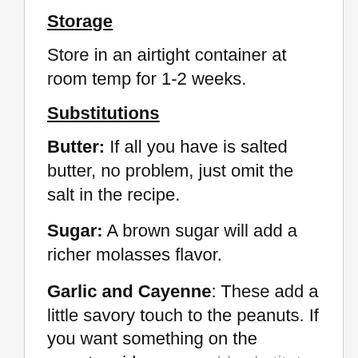Storage
Store in an airtight container at room temp for 1-2 weeks.
Substitutions
Butter:  If all you have is salted butter, no problem, just omit the salt in the recipe.
Sugar:  A brown sugar will add a richer molasses flavor.
Garlic and Cayenne: These add a little savory touch to the peanuts. If you want something on the sweeter side, you could substitute cinnamon!